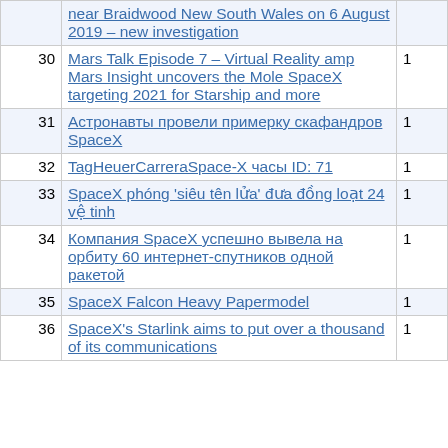| # | Article | Count |
| --- | --- | --- |
|  | …near Braidwood New South Wales on 6 August 2019 – new investigation |  |
| 30 | Mars Talk Episode 7 – Virtual Reality amp Mars Insight uncovers the Mole SpaceX targeting 2021 for Starship and more | 1 |
| 31 | Астронавты провели примерку скафандров SpaceX | 1 |
| 32 | TagHeuerCarreraSpace-X часы ID: 71 | 1 |
| 33 | SpaceX phóng 'siêu tên lửa' đưa đồng loạt 24 vệ tinh | 1 |
| 34 | Компания SpaceX успешно вывела на орбиту 60 интернет-спутников одной ракетой | 1 |
| 35 | SpaceX Falcon Heavy Papermodel | 1 |
| 36 | SpaceX's Starlink aims to put over a thousand of its communications… | 1 |